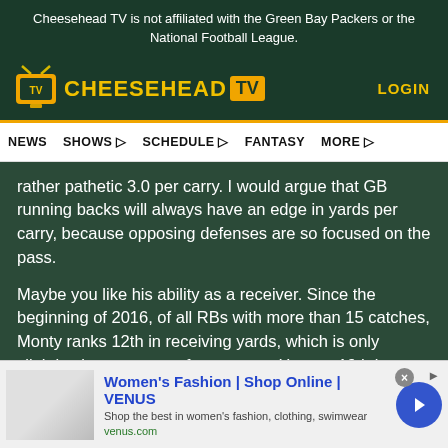Cheesehead TV is not affiliated with the Green Bay Packers or the National Football League.
[Figure (logo): Cheesehead TV logo with yellow text and TV icon on dark green background]
LOGIN
NEWS  SHOWS  SCHEDULE  FANTASY  MORE
rather pathetic 3.0 per carry. I would argue that GB running backs will always have an edge in yards per carry, because opposing defenses are so focused on the pass.
Maybe you like his ability as a receiver. Since the beginning of 2016, of all RBs with more than 15 catches, Monty ranks 12th in receiving yards, which is only slightly above average for a starter. He was 19th in catch rate and 36th in
[Figure (other): Advertisement banner: Women's Fashion | Shop Online | VENUS. Shop the best in women's fashion, clothing, swimwear. venus.com]